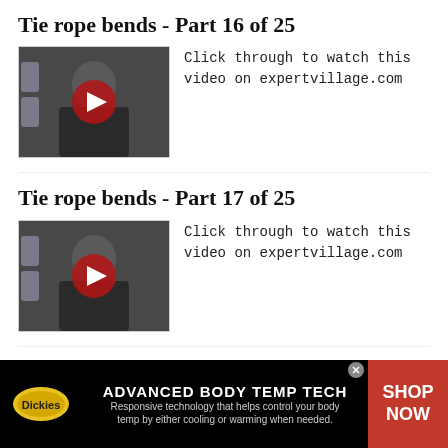Tie rope bends - Part 16 of 25
[Figure (screenshot): Video thumbnail showing a person with a red play button overlay]
Click through to watch this video on expertvillage.com
Tie rope bends - Part 17 of 25
[Figure (screenshot): Video thumbnail showing a person with a red play button overlay]
Click through to watch this video on expertvillage.com
Tie rope bends - Part 18 of 25
[Figure (screenshot): Video thumbnail showing a person with a red play button overlay]
Click through to watch this video on expertvillage.com
[Figure (infographic): Dickies advertisement banner: ADVANCED BODY TEMP TECH - Responsive technology that helps control your body temp by either cooling or warming when needed. SHOP NOW button on right.]